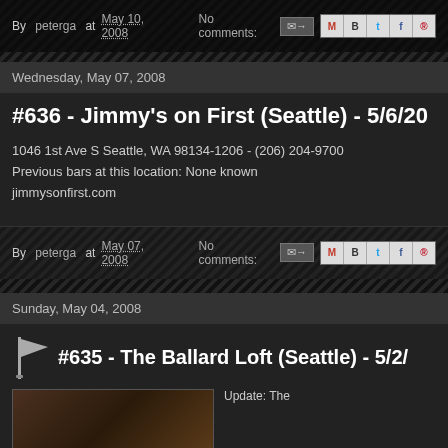By peterga at May 10, 2008  No comments:
Wednesday, May 07, 2008
#636 - Jimmy's on First (Seattle) - 5/6/20...
1046 1st Ave S Seattle, WA 98134-1206 - (206) 204-9700
Previous bars at this location: None known
jimmysonfirst.com
By peterga at May 07, 2008  No comments:
Sunday, May 04, 2008
#635 - The Ballard Loft (Seattle) - 5/2/...
Update: The